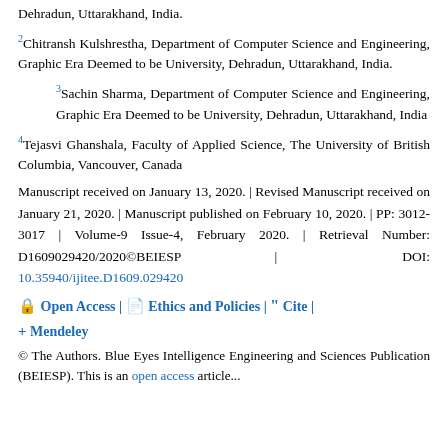Dehradun, Uttarakhand, India.
2Chitransh Kulshrestha, Department of Computer Science and Engineering, Graphic Era Deemed to be University, Dehradun, Uttarakhand, India.
3Sachin Sharma, Department of Computer Science and Engineering, Graphic Era Deemed to be University, Dehradun, Uttarakhand, India
4Tejasvi Ghanshala, Faculty of Applied Science, The University of British Columbia, Vancouver, Canada
Manuscript received on January 13, 2020. | Revised Manuscript received on January 21, 2020. | Manuscript published on February 10, 2020. | PP: 3012-3017 | Volume-9 Issue-4, February 2020. | Retrieval Number: D1609029420/2020©BEIESP | DOI: 10.35940/ijitee.D1609.029420
🔒 Open Access | 📄 Ethics and Policies | ❝❞ Cite | + Mendeley
© The Authors. Blue Eyes Intelligence Engineering and Sciences Publication (BEIESP). This is an open access article...